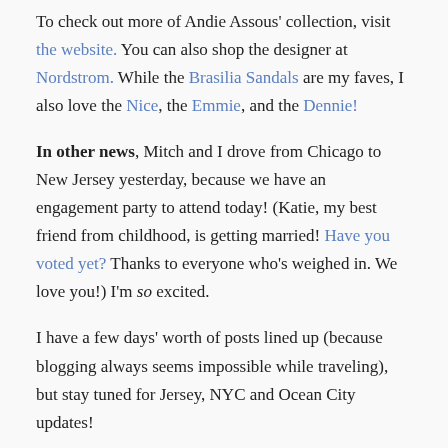To check out more of Andie Assous' collection, visit the website. You can also shop the designer at Nordstrom. While the Brasilia Sandals are my faves, I also love the Nice, the Emmie, and the Dennie!
In other news, Mitch and I drove from Chicago to New Jersey yesterday, because we have an engagement party to attend today! (Katie, my best friend from childhood, is getting married! Have you voted yet? Thanks to everyone who's weighed in. We love you!) I'm so excited.
I have a few days' worth of posts lined up (because blogging always seems impossible while traveling), but stay tuned for Jersey, NYC and Ocean City updates!
Photos by Shaheen of Lows to Luxe (xoxo)